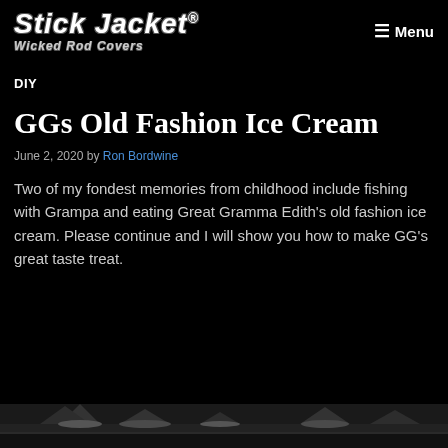Stick Jacket® Wicked Rod Covers — Menu
DIY
GGs Old Fashion Ice Cream
June 2, 2020 by Ron Bordwine
Two of my fondest memories from childhood include fishing with Grampa and eating Great Gramma Edith's old fashion ice cream. Please continue and I will show you how to make GG's great taste treat.
[Figure (photo): Partial view of an outdoor winter scene at the bottom of the page]